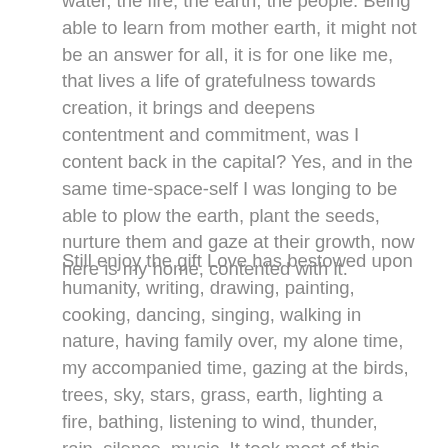water, the fire, the earth, the people. Being able to learn from mother earth, it might not be an answer for all, it is for one like me, that lives a life of gratefulness towards creation, it brings and deepens contentment and commitment, was I content back in the capital? Yes, and in the same time-space-self I was longing to be able to plow the earth, plant the seeds, nurture them and gaze at their growth, now here is my home, contented with it.
Still enjoy the gift Love has bestowed upon humanity, writing, drawing, painting, cooking, dancing, singing, walking in nature, having family over, my alone time, my accompanied time, gazing at the birds, trees, sky, stars, grass, earth, lighting a fire, bathing, listening to wind, thunder, rain, silence, music. It took most of this year to open this archive, to which there was all already a title engraved, know, here, enjoying being able to share these